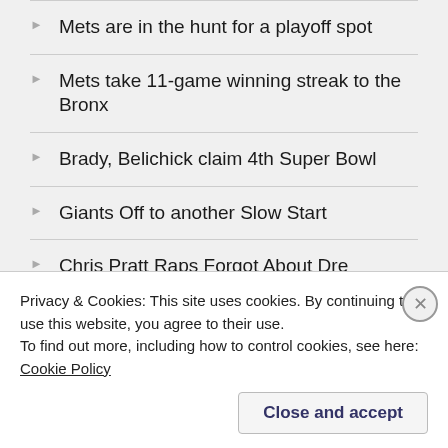Mets are in the hunt for a playoff spot
Mets take 11-game winning streak to the Bronx
Brady, Belichick claim 4th Super Bowl
Giants Off to another Slow Start
Chris Pratt Raps Forgot About Dre
ARCHIVES
Privacy & Cookies: This site uses cookies. By continuing to use this website, you agree to their use.
To find out more, including how to control cookies, see here: Cookie Policy
Close and accept